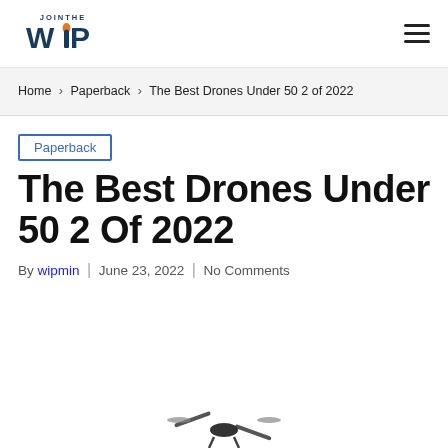JoinTheWIP [logo] | hamburger menu icon
Home > Paperback > The Best Drones Under 50 2 of 2022
Paperback
The Best Drones Under 50 2 Of 2022
By wipmin | June 23, 2022 | No Comments
[Figure (photo): Partial view of a drone at the bottom of the page]